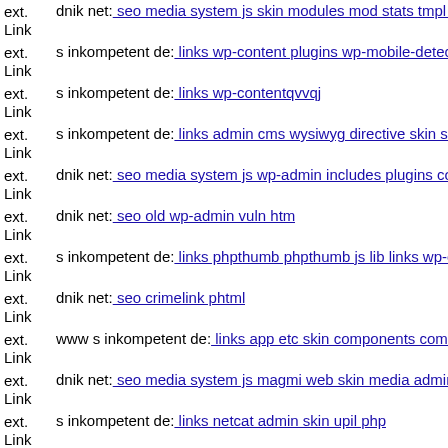ext. Link dnik net: seo media system js skin modules mod stats tmpl s in
ext. Link s inkompetent de: links wp-content plugins wp-mobile-detecto
ext. Link s inkompetent de: links wp-contentqvvqj
ext. Link s inkompetent de: links admin cms wysiwyg directive skin skir
ext. Link dnik net: seo media system js wp-admin includes plugins conte
ext. Link dnik net: seo old wp-admin vuln htm
ext. Link s inkompetent de: links phpthumb phpthumb js lib links wp-co
ext. Link dnik net: seo crimelink phtml
ext. Link www s inkompetent de: links app etc skin components com b2j
ext. Link dnik net: seo media system js magmi web skin media administr
ext. Link s inkompetent de: links netcat admin skin upil php
ext. dnik net: seo id 4de7c062e216a7422e90025f